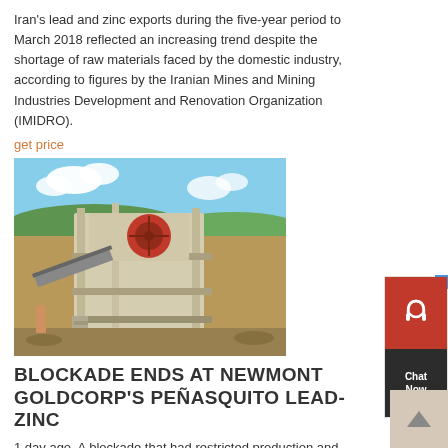Iran's lead and zinc exports during the five-year period to March 2018 reflected an increasing trend despite the shortage of raw materials faced by the domestic industry, according to figures by the Iranian Mines and Mining Industries Development and Renovation Organization (IMIDRO).
get price
[Figure (photo): Photo of a large industrial mining crushing machine on a construction site, with a blue sky and hills in the background.]
BLOCKADE ENDS AT NEWMONT GOLDCORP'S PEÑASQUITO LEAD-ZINC
1 day ago· A blockade that had restricted production and exports of lead and zinc concentrates from Newmont Goldcorp's